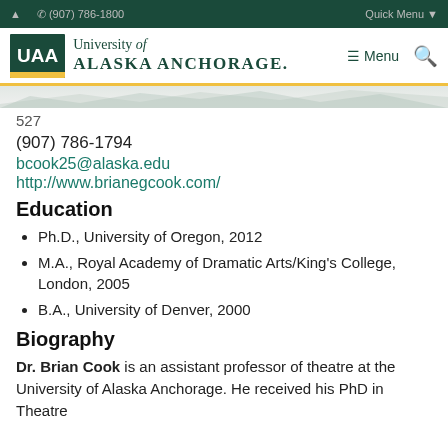(907) 786-1800  Quick Menu
[Figure (logo): University of Alaska Anchorage logo with UAA text in green box and university name]
527
(907) 786-1794
bcook25@alaska.edu
http://www.brianegcook.com/
Education
Ph.D., University of Oregon, 2012
M.A., Royal Academy of Dramatic Arts/King's College, London, 2005
B.A., University of Denver, 2000
Biography
Dr. Brian Cook is an assistant professor of theatre at the University of Alaska Anchorage. He received his PhD in Theatre